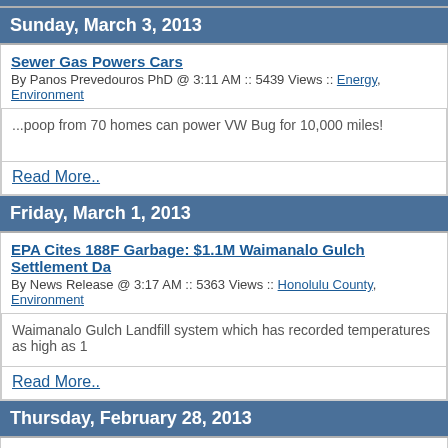Sunday, March 3, 2013
Sewer Gas Powers Cars
By Panos Prevedouros PhD @ 3:11 AM :: 5439 Views :: Energy, Environment
...poop from 70 homes can power VW Bug for 10,000 miles!
Read More..
Friday, March 1, 2013
EPA Cites 188F Garbage: $1.1M Waimanalo Gulch Settlement Da
By News Release @ 3:17 AM :: 5363 Views :: Honolulu County, Environment
Waimanalo Gulch Landfill system which has recorded temperatures as high as 1
Read More..
Thursday, February 28, 2013
Store owners say plastic bag ban causes more shoplifting
By Selected News Articles @ 9:29 PM :: 8158 Views :: Environment, Law Enforce